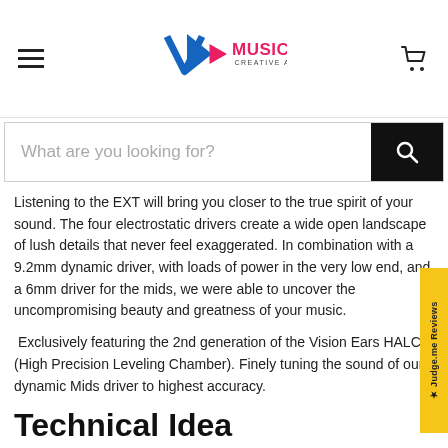MusicTeck Creative Audio — navigation header with logo and cart
What are you looking for?
Listening to the EXT will bring you closer to the true spirit of your sound. The four electrostatic drivers create a wide open landscape of lush details that never feel exaggerated. In combination with a 9.2mm dynamic driver, with loads of power in the very low end, and a 6mm driver for the mids, we were able to uncover the uncompromising beauty and greatness of your music.
Exclusively featuring the 2nd generation of the Vision Ears HALC (High Precision Leveling Chamber). Finely tuning the sound of our dynamic Mids driver to highest accuracy.
Technical Idea
Based on the idea of the ELYSIUM to create an electrifying